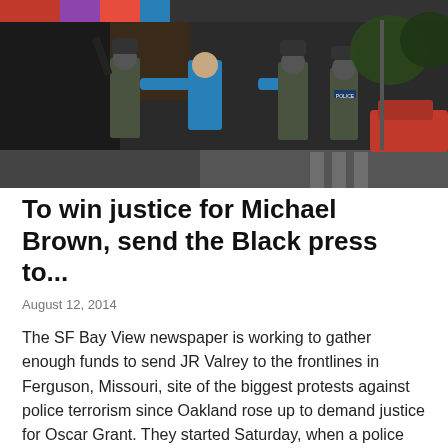[Figure (photo): A person in a blue shirt faces away from the camera with arms outstretched, flanked by multiple heavily armed police or military officers in tactical gear and helmets on a street.]
To win justice for Michael Brown, send the Black press to...
August 12, 2014
The SF Bay View newspaper is working to gather enough funds to send JR Valrey to the frontlines in Ferguson, Missouri, site of the biggest protests against police terrorism since Oakland rose up to demand justice for Oscar Grant. They started Saturday, when a police officer murdered unarmed Michael Brown, 18, for walking in the roadway with his friend. Most corporate media is working to distort the story and demonize the righteous anger of the people. Michael's family and friends and the people of Ferguson need the Black press to tell their story.